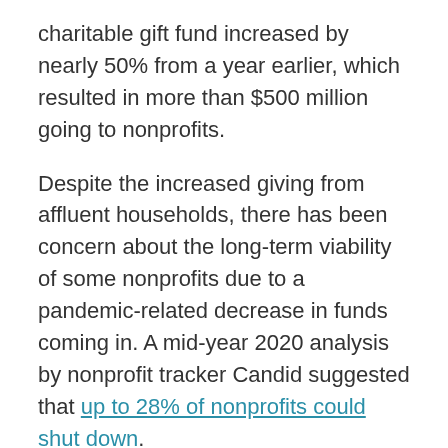charitable gift fund increased by nearly 50% from a year earlier, which resulted in more than $500 million going to nonprofits.
Despite the increased giving from affluent households, there has been concern about the long-term viability of some nonprofits due to a pandemic-related decrease in funds coming in. A mid-year 2020 analysis by nonprofit tracker Candid suggested that up to 28% of nonprofits could shut down.
“What we saw were nonprofits pivoting to find ways to be relevant,” Limberg said. “We saw a tremendous amount of innovation.”
That could have meant a nonprofit switching to, say, operating as a food pantry, which was not part of their